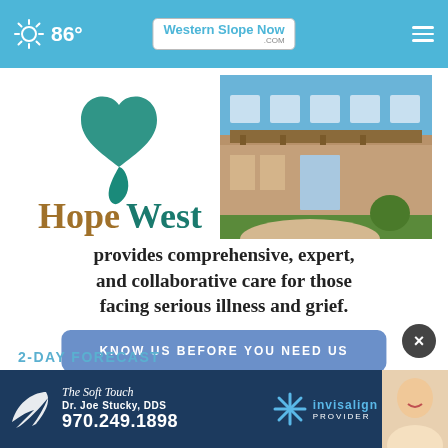86° | WesternSlopeNow.COM
[Figure (logo): HopeWest logo with teal heart/comma symbol and brown wordmark]
[Figure (photo): HopeWest building exterior photo showing modern facility with covered entrance]
provides comprehensive, expert, and collaborative care for those facing serious illness and grief.
KNOW US BEFORE YOU NEED US
2-DAY FORECAST
[Figure (advertisement): The Soft Touch dental ad - Dr. Joe Stucky DDS, 970.249.1898, Invisalign Provider]